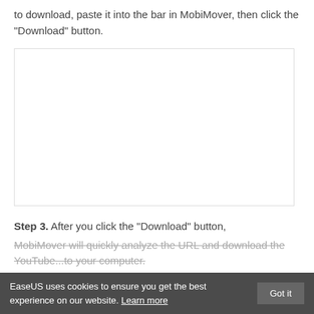to download, paste it into the bar in MobiMover, then click the "Download" button.
[Figure (screenshot): Screenshot placeholder showing a white box with light border representing the MobiMover application interface.]
Step 3. After you click the "Download" button,
MobiMover will quickly analyze the URL and download the YouTube...to your computer.
EaseUS uses cookies to ensure you get the best experience on our website. Learn more  Got it